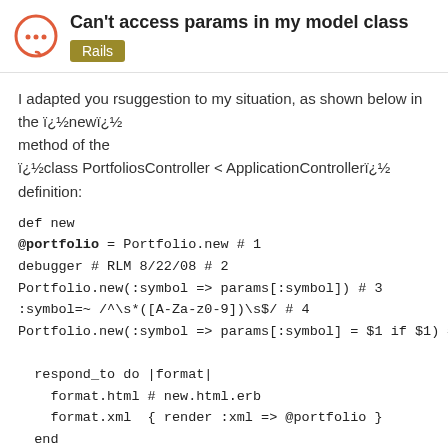Can't access params in my model class
Rails
I adapted you rsuggestion to my situation, as shown below in the ï¿½newï¿½ method of the ï¿½class PortfoliosController < ApplicationControllerï¿½ definition:
def new
@portfolio = Portfolio.new # 1
debugger # RLM 8/22/08 # 2
Portfolio.new(:symbol => params[:symbol]) # 3
:symbol=~ /^\s*([A-Za-z0-9])\s$/ # 4
Portfolio.new(:symbol => params[:symbol] = $1 if $1) # 5

  respond_to do |format|
    format.html # new.html.erb
    format.xml  { render :xml => @portfolio }
  end